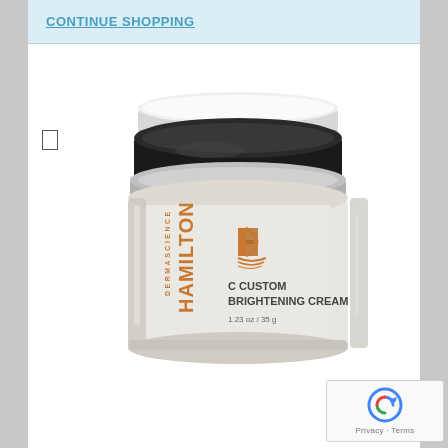CONTINUE SHOPPING
[Figure (photo): Hamilton Dermascience C Custom Brightening Cream jar, 1.23 oz / 35 g, with white and black lid]
[Figure (logo): Google reCAPTCHA badge with Privacy and Terms links]